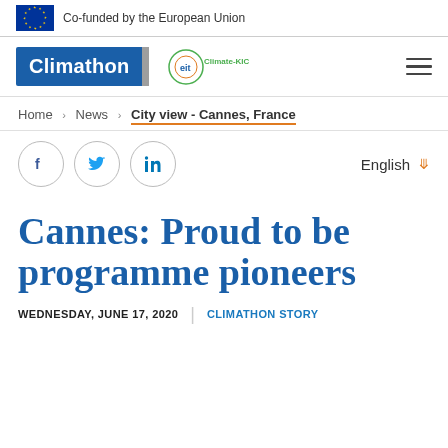Co-funded by the European Union
[Figure (logo): Climathon and EIT Climate-KIC logos with hamburger menu]
Home > News > City view - Cannes, France
[Figure (infographic): Social media icons (Facebook, Twitter, LinkedIn) and English language selector]
Cannes: Proud to be programme pioneers
WEDNESDAY, JUNE 17, 2020 | CLIMATHON STORY